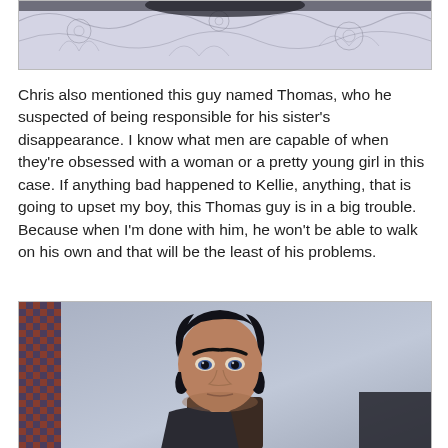[Figure (photo): Partial view of a decorative floral patterned fabric or bedding with black and white design, top portion cropped]
Chris also mentioned this guy named Thomas, who he suspected of being responsible for his sister's disappearance. I know what men are capable of when they're obsessed with a woman or a pretty young girl in this case. If anything bad happened to Kellie, anything, that is going to upset my boy, this Thomas guy is in a big trouble. Because when I'm done with him, he won't be able to walk on his own and that will be the least of his problems.
[Figure (photo): A The Sims video game character screenshot showing a dark-haired male character with blue eyes and an intense expression, wearing a dark outfit, with a decorated wall visible in the background]